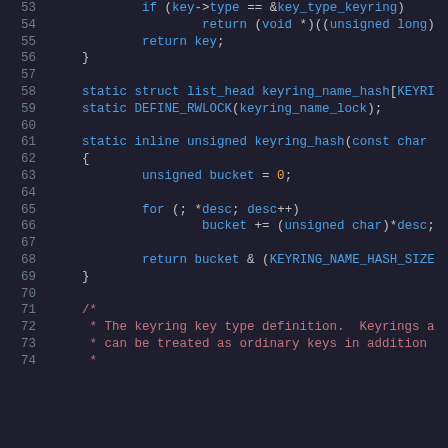[Figure (screenshot): Source code listing showing lines 53-74 of a C file implementing keyring hash functionality. Dark background with syntax highlighting: blue for keywords and identifiers, orange/yellow for numbers, red for comments.]